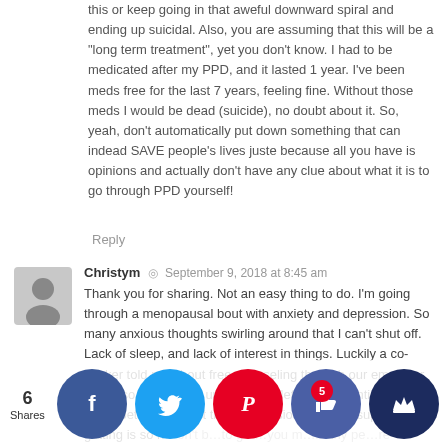this or keep going in that aweful downward spiral and ending up suicidal. Also, you are assuming that this will be a "long term treatment", yet you don't know. I had to be medicated after my PPD, and it lasted 1 year. I've been meds free for the last 7 years, feeling fine. Without those meds I would be dead (suicide), no doubt about it. So, yeah, don't automatically put down something that can indead SAVE people's lives juste because all you have is opinions and actually don't have any clue about what it is to go through PPD yourself!
Reply
Christym  ·  September 9, 2018 at 8:45 am
Thank you for sharing. Not an easy thing to do. I'm going through a menopausal bout with anxiety and depression. So many anxious thoughts swirling around that I can't shut off. Lack of sleep, and lack of interest in things. Luckily a co-worker told me about free counseling through our employer. It was so easy to set up and completely confidential. I felt so much better after just the first session. Just the support I'm getting is so h...on't b...to get...you m...many pe...re going...gh the s...ning you...